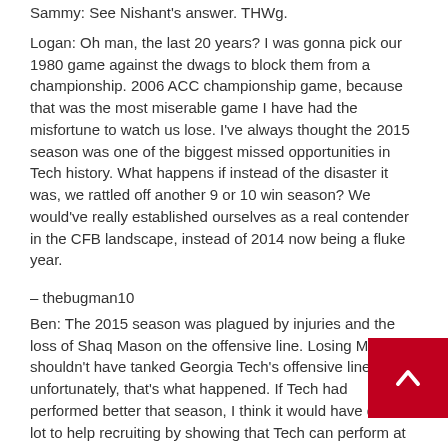Sammy: See Nishant's answer. THWg.
Logan: Oh man, the last 20 years? I was gonna pick our 1980 game against the dwags to block them from a championship. 2006 ACC championship game, because that was the most miserable game I have had the misfortune to watch us lose. I've always thought the 2015 season was one of the biggest missed opportunities in Tech history. What happens if instead of the disaster it was, we rattled off another 9 or 10 win season? We would've really established ourselves as a real contender in the CFB landscape, instead of 2014 now being a fluke year.
– thebugman10
Ben: The 2015 season was plagued by injuries and the loss of Shaq Mason on the offensive line. Losing Mason shouldn't have tanked Georgia Tech's offensive line, but unfortunately, that's what happened. If Tech had performed better that season, I think it would have done a lot to help recruiting by showing that Tech can perform at a high level more consistently. I don't that Tech would have been established as a real contend the CFB landscape, but they would have been a whole lot closer.
Carter: I looked back at that schedule yesterday, and would you